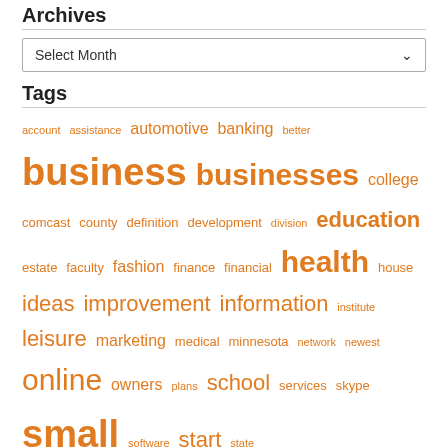Archives
Select Month
Tags
account assistance automotive banking better business businesses college comcast county definition development division education estate faculty fashion finance financial health house ideas improvement information institute leisure marketing medical minnesota network newest online owners plans school services skype small software start state technology toolkit travel university
About Us
Sitemap